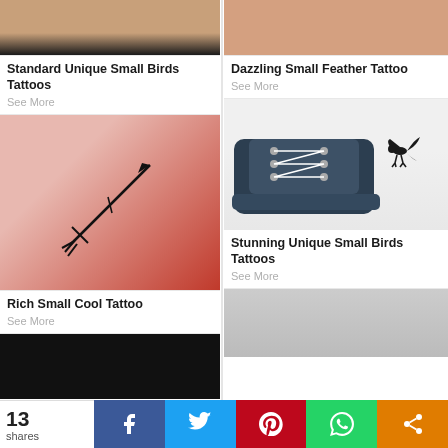[Figure (photo): Top partial image of a person's neck/shoulder with black background]
Standard Unique Small Birds Tattoos
See More
[Figure (photo): Arrow tattoo on hand, red textured background]
Rich Small Cool Tattoo
See More
[Figure (photo): Partial bottom image, dark/black background]
[Figure (photo): Top partial photo of a person's leg/skin, skin tone background]
Dazzling Small Feather Tattoo
See More
[Figure (photo): Bird tattoo on ankle near black sneaker]
Stunning Unique Small Birds Tattoos
See More
[Figure (photo): Black and white photo of a hand, partial view]
13 shares
f
🐦 (Twitter icon)
Pinterest icon
WhatsApp icon
Share icon